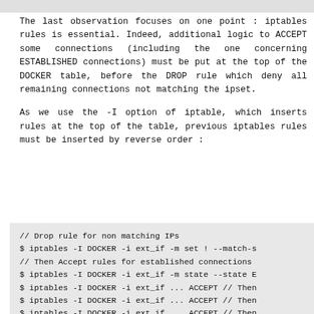The last observation focuses on one point : iptables rules is essential. Indeed, additional logic to ACCEPT some connections (including the one concerning ESTABLISHED connections) must be put at the top of the DOCKER table, before the DROP rule which deny all remaining connections not matching the ipset.
As we use the -I option of iptable, which inserts rules at the top of the table, previous iptables rules must be inserted by reverse order :
// Drop rule for non matching IPs
$ iptables -I DOCKER -i ext_if -m set ! --match-s
// Then Accept rules for established connections
$ iptables -I DOCKER -i ext_if -m state --state E
$ iptables -I DOCKER -i ext_if ... ACCEPT // Then
$ iptables -I DOCKER -i ext_if ... ACCEPT // Then
$ iptables -I DOCKER -i ext_if ... ACCEPT // Then